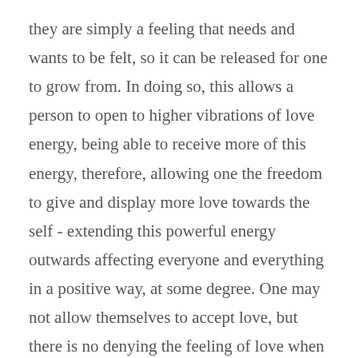they are simply a feeling that needs and wants to be felt, so it can be released for one to grow from. In doing so, this allows a person to open to higher vibrations of love energy, being able to receive more of this energy, therefore, allowing one the freedom to give and display more love towards the self - extending this powerful energy outwards affecting everyone and everything in a positive way, at some degree. One may not allow themselves to accept love, but there is no denying the feeling of love when it is present. Love simply touches us on so many levels.
We are made with the love and light of our